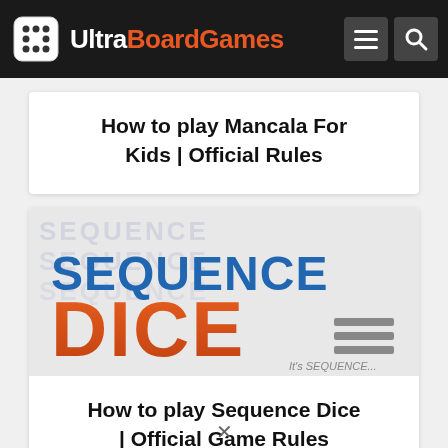UltraBoardGames
How to play Mancala For Kids | Official Rules
[Figure (logo): Sequence Dice game logo with blue SEQUENCE text and orange DICE text on grey/white background]
How to play Sequence Dice | Official Game Rules